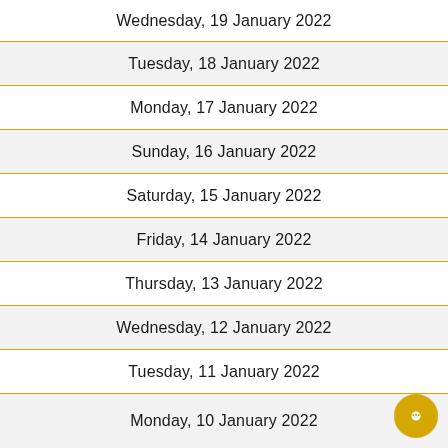Wednesday, 19 January 2022
Tuesday, 18 January 2022
Monday, 17 January 2022
Sunday, 16 January 2022
Saturday, 15 January 2022
Friday, 14 January 2022
Thursday, 13 January 2022
Wednesday, 12 January 2022
Tuesday, 11 January 2022
Monday, 10 January 2022